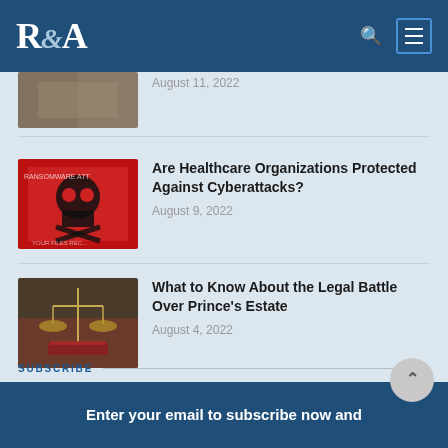R&A logo with navigation
August 11, 2022
Are Healthcare Organizations Protected Against Cyberattacks?
August 9, 2022
What to Know About the Legal Battle Over Prince's Estate
August 4, 2022
SUBSCRIBE
Enter your email to subscribe now and